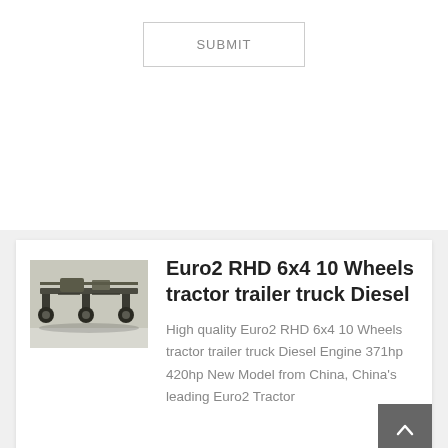SUBMIT
[Figure (photo): Underside/chassis view of a heavy truck, photographed from below showing axles, wheels and frame components against a light background.]
Euro2 RHD 6x4 10 Wheels tractor trailer truck Diesel
High quality Euro2 RHD 6x4 10 Wheels tractor trailer truck Diesel Engine 371hp 420hp New Model from China, China's leading Euro2 Tractor